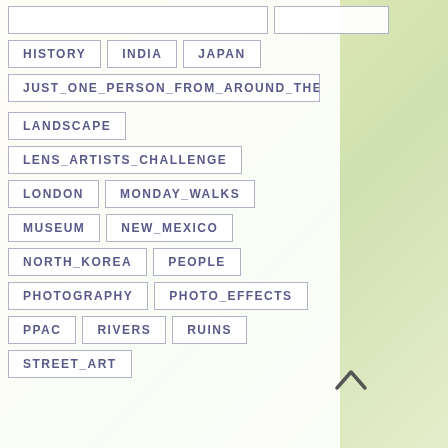HISTORY  INDIA  JAPAN
JUST_ONE_PERSON_FROM_AROUND_THE_W
LANDSCAPE
LENS_ARTISTS_CHALLENGE
LONDON  MONDAY_WALKS
MUSEUM  NEW_MEXICO
NORTH_KOREA  PEOPLE
PHOTOGRAPHY  PHOTO_EFFECTS
PPAC  RIVERS  RUINS
STREET_ART